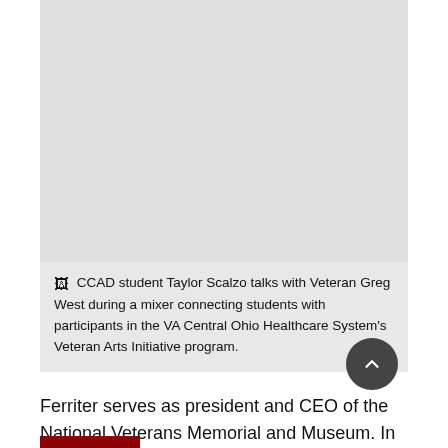[Figure (photo): Gray placeholder image area for a photo of CCAD student Taylor Scalzo talking with Veteran Greg West during a mixer]
CCAD student Taylor Scalzo talks with Veteran Greg West during a mixer connecting students with participants in the VA Central Ohio Healthcare System's Veteran Arts Initiative program.
Ferriter serves as president and CEO of the National Veterans Memorial and Museum. In his role, he leads the development of awareness, partnerships and a national